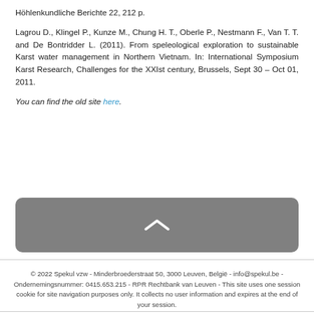Höhlenkundliche Berichte 22, 212 p.
Lagrou D., Klingel P., Kunze M., Chung H. T., Oberle P., Nestmann F., Van T. T. and De Bontridder L. (2011). From speleological exploration to sustainable Karst water management in Northern Vietnam. In: International Symposium Karst Research, Challenges for the XXIst century, Brussels, Sept 30 – Oct 01, 2011.
You can find the old site here.
[Figure (other): Gray rounded rectangle bar with a white upward-pointing caret/chevron icon]
© 2022 Spekul vzw - Minderbroederstraat 50, 3000 Leuven, België - info@spekul.be - Ondernemingsnummer: 0415.653.215 - RPR Rechtbank van Leuven - This site uses one session cookie for site navigation purposes only. It collects no user information and expires at the end of your session.